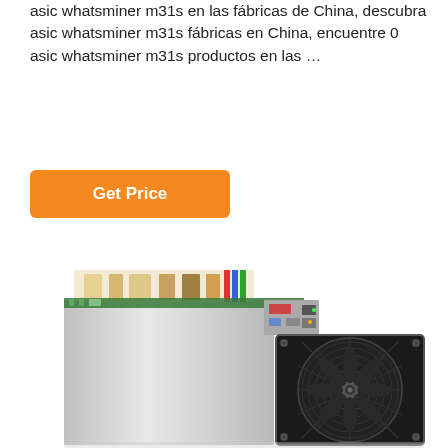asic whatsminer m31s en las fábricas de China, descubra asic whatsminer m31s fábricas en China, encuentre 0 asic whatsminer m31s productos en las ...
Get Price
[Figure (photo): Photo of an ASIC cryptocurrency miner (Whatsminer M31S) showing a silver/aluminum rectangular unit with a large black cooling fan on the right side, cables visible at the top, and circuit board components.]